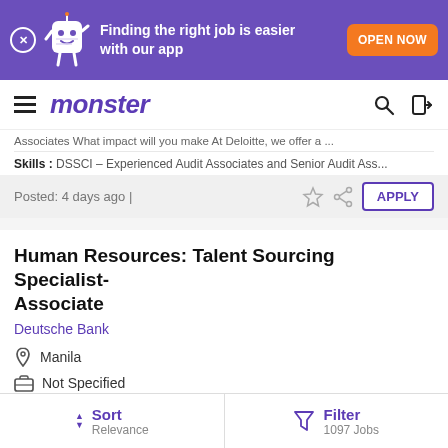Finding the right job is easier with our app  OPEN NOW
monster
Associates What impact will you make At Deloitte, we offer a ...
Skills: DSSCI – Experienced Audit Associates and Senior Audit Ass...
Posted: 4 days ago |    APPLY
Human Resources: Talent Sourcing Specialist- Associate
Deutsche Bank
Manila
Not Specified
Position Overview Human Resource has a key role in the transition to a culture that aligns risks and rewards, attracts and develops …
Sort Relevance   Filter 1097 Jobs